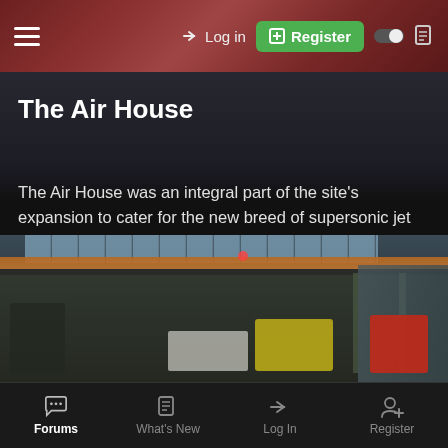Log in | Register
The Air House
The Air House was an integral part of the site's expansion to cater for the new breed of supersonic jet engines. It was clear that the new Cell 3 would require more high pressure air or more suction capability than the Plant House could provide and so the Air House was constructed. It performed one function: to generate right atmospheric conditions to fly a supersonic jet engine on the ground.
[Figure (photo): Interior of the Air House industrial facility showing an overhead crane beam in orange, large windows along the upper wall, and various equipment including yellow, white, and red machinery on the floor.]
Forums | What's New | Log In | Register